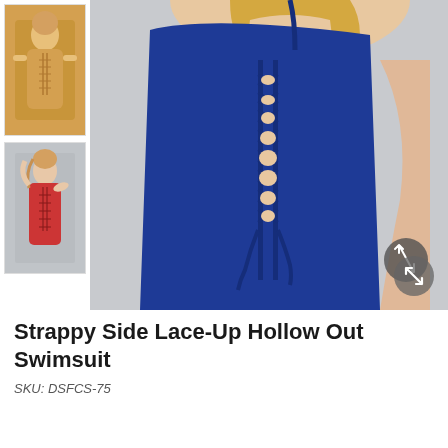[Figure (photo): Thumbnail image of model wearing orange/yellow strappy lace-up hollow out swimsuit]
[Figure (photo): Thumbnail image of model wearing red strappy lace-up hollow out swimsuit]
[Figure (photo): Main product image: close-up of model wearing navy/royal blue strappy side lace-up hollow out one-piece swimsuit, showing the side lace-up detail with crossed straps and tie at bottom, against a light grey background. A grey expand/zoom button is visible in the bottom right corner.]
Strappy Side Lace-Up Hollow Out Swimsuit
SKU: DSFCS-75